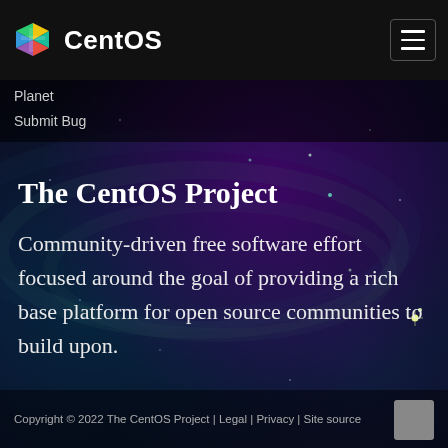CentOS
Planet
Submit Bug
The CentOS Project
Community-driven free software effort focused around the goal of providing a rich base platform for open source communities to build upon.
Copyright © 2022 The CentOS Project | Legal | Privacy | Site source